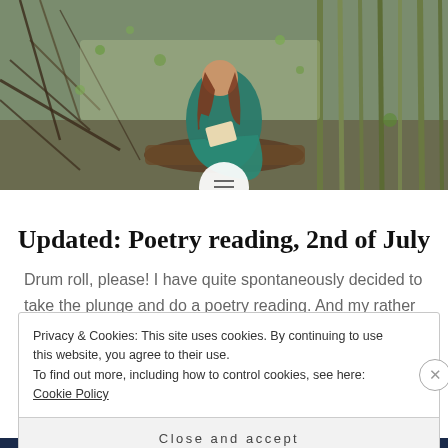[Figure (photo): Woman in a teal/green dress sitting on a log in a woodland setting, reading a book. Surrounded by bare branches, twigs, and early spring greenery.]
Updated: Poetry reading, 2nd of July
Drum roll, please! I have quite spontaneously decided to take the plunge and do a poetry reading. And my rather fabulous mother,
Privacy & Cookies: This site uses cookies. By continuing to use this website, you agree to their use.
To find out more, including how to control cookies, see here: Cookie Policy
Close and accept